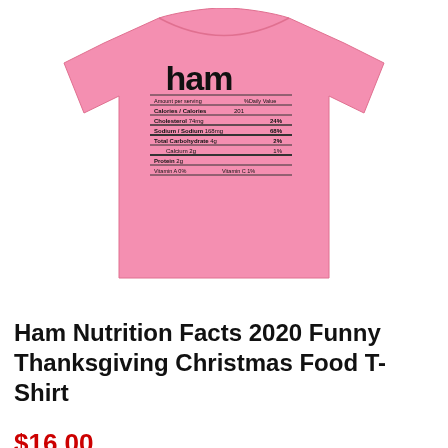[Figure (photo): Pink t-shirt with a nutrition facts label design printed on the front. The label reads 'ham' in large bold text at the top, followed by nutrition information: Amount per serving / %Daily Value, Calories/Calories 201, Cholesterol 74mg 24%, Sodium/Sodium 168mg 68%, Total Carbohydrate 4g 2%, Calcium 2g 1%, Protein 2g, Vitamin A 0% / Vitamin C 1%.]
Ham Nutrition Facts 2020 Funny Thanksgiving Christmas Food T-Shirt
$16.00